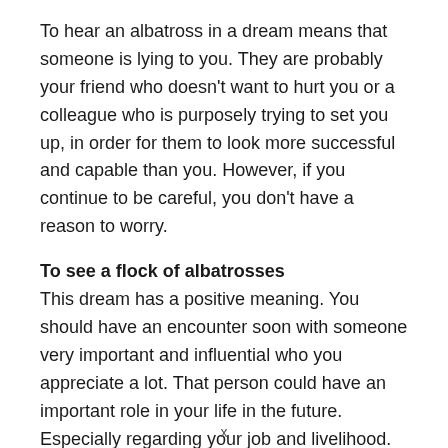To hear an albatross in a dream means that someone is lying to you. They are probably your friend who doesn't want to hurt you or a colleague who is purposely trying to set you up, in order for them to look more successful and capable than you. However, if you continue to be careful, you don't have a reason to worry.
To see a flock of albatrosses
This dream has a positive meaning. You should have an encounter soon with someone very important and influential who you appreciate a lot. That person could have an important role in your life in the future. Especially regarding your job and livelihood.
To see an albatross with fish in its beak
x